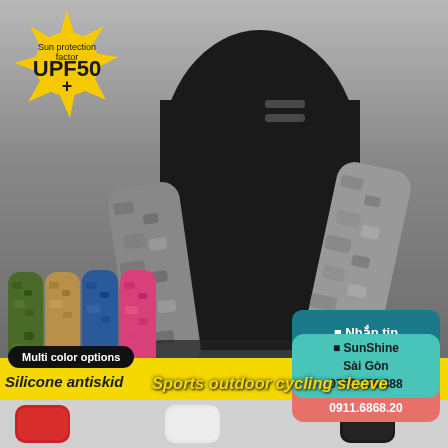[Figure (photo): Product advertisement for sports outdoor cycling arm sleeves. Shows a person wearing black cycling jersey with camouflage-patterned arm sleeves. Left side shows multiple colored arm sleeves in camo patterns (green, tan, blue, pink). Top left has a yellow sun badge showing UPF50+. Right side has contact info boxes in teal, pink, and cyan. Bottom yellow bar shows product name and features. Bottom strip shows red, white/grey, and black sleeve color options.]
Sports outdoor cycling sleeve
Sun protection factor UPF50+
Multi color options
Silicone antiskid
⬛ Nhắn tin
⬛ SunShine Hà Nội 0911.6868.20
⬛ SunShine Sài Gòn 0765.176.888